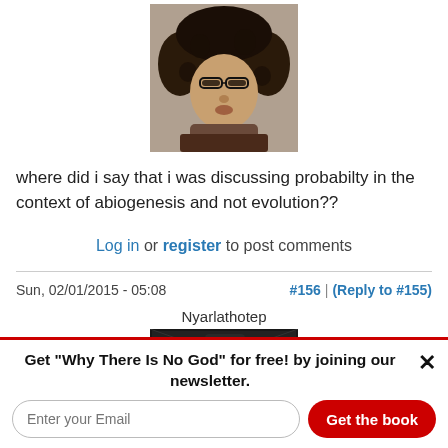[Figure (photo): Profile photo of a woman with curly hair and glasses]
where did i say that i was discussing probabilty in the context of abiogenesis and not evolution??
Log in or register to post comments
Sun, 02/01/2015 - 05:08   #156 | (Reply to #155)
Nyarlathotep
[Figure (photo): Partially visible avatar image, dark background]
Get "Why There Is No God" for free! by joining our newsletter.